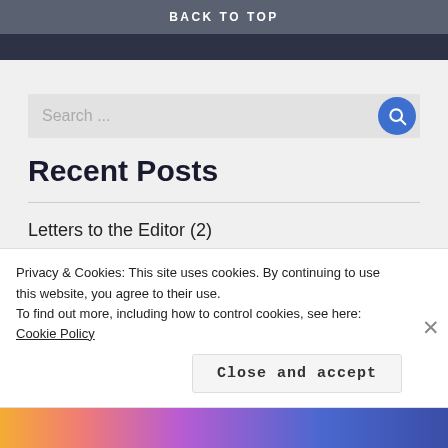BACK TO TOP
Search ...
Recent Posts
Letters to the Editor (2)
Raptor nut (part two)
Raptor nut (Part 1)
Privacy & Cookies: This site uses cookies. By continuing to use this website, you agree to their use.
To find out more, including how to control cookies, see here: Cookie Policy
Close and accept